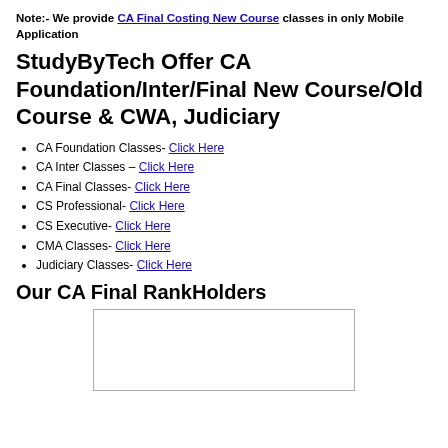Note:- We provide CA Final Costing New Course classes in only Mobile Application
StudyByTech Offer CA Foundation/Inter/Final New Course/Old Course & CWA, Judiciary
CA Foundation Classes- Click Here
CA Inter Classes – Click Here
CA Final Classes- Click Here
CS Professional- Click Here
CS Executive- Click Here
CMA Classes- Click Here
Judiciary Classes- Click Here
Our CA Final RankHolders
[Figure (photo): Image placeholder showing CA Final RankHolders photo]